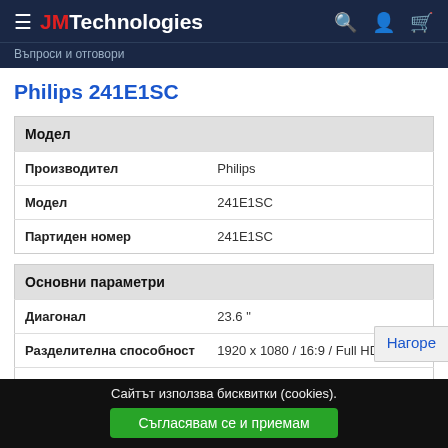≡ JMTechnologies
Въпроси и отговори
Philips 241E1SC
| Модел |  |
| --- | --- |
| Производител | Philips |
| Модел | 241E1SC |
| Партиден номер | 241E1SC |
| Основни параметри |  |
| --- | --- |
| Диагонал | 23.6 " |
| Разделителна способност | 1920 x 1080 / 16:9 / Full HD |
| Технология | VA |
| Време за реакция | 4 ms |
Нагоре
Сайтът използва бисквитки (cookies).
Съгласявам се и приемам